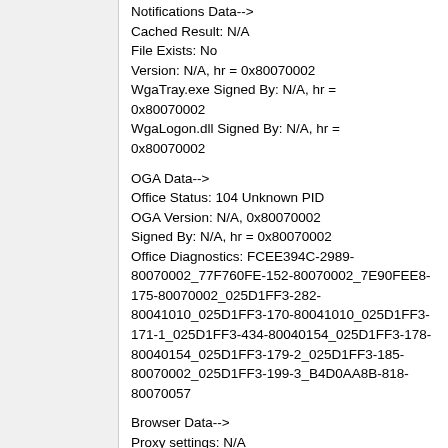Notifications Data-->
Cached Result: N/A
File Exists: No
Version: N/A, hr = 0x80070002
WgaTray.exe Signed By: N/A, hr = 0x80070002
WgaLogon.dll Signed By: N/A, hr = 0x80070002
OGA Data-->
Office Status: 104 Unknown PID
OGA Version: N/A, 0x80070002
Signed By: N/A, hr = 0x80070002
Office Diagnostics: FCEE394C-2989-80070002_77F760FE-152-80070002_7E90FEE8-175-80070002_025D1FF3-282-80041010_025D1FF3-170-80041010_025D1FF3-171-1_025D1FF3-434-80040154_025D1FF3-178-80040154_025D1FF3-179-2_025D1FF3-185-80070002_025D1FF3-199-3_B4D0AA8B-818-80070057
Browser Data-->
Proxy settings: N/A
User Agent: Mozilla/4.0 (compatible; MSIE 7.0; Win32)
Default Browser: C:\Program